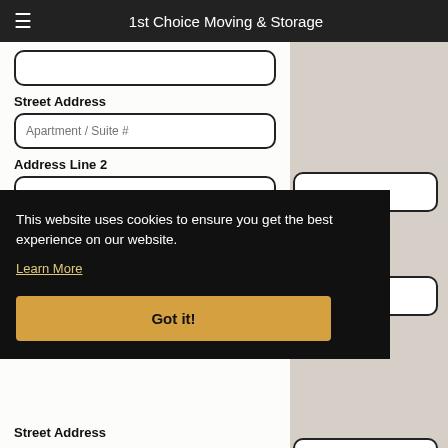1st Choice Moving & Storage
Street Address
Apartment / Suite #
Address Line 2
City
This website uses cookies to ensure you get the best experience on our website.
Learn More
Got it!
Street Address